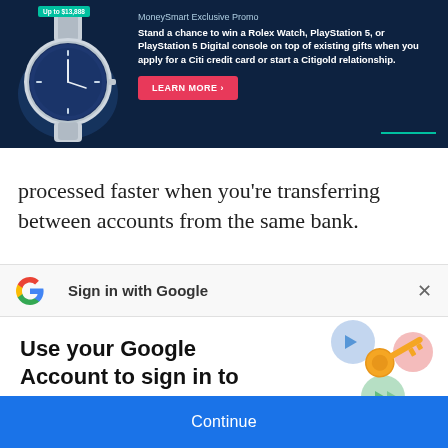[Figure (infographic): MoneySmart advertisement banner with a Rolex watch image, teal badge reading 'Up to $13,888', promo text about winning a Rolex Watch or PlayStation 5 when applying for a Citi credit card or Citigold relationship, and a pink LEARN MORE button on a dark navy background.]
processed faster when you're transferring between accounts from the same bank.
[Figure (logo): Google G logo multicolor (blue, red, yellow, green)]
Sign in with Google
×
Use your Google Account to sign in to MoneySmart
[Figure (illustration): Google key illustration with colorful circles and a golden key, representing secure sign-in]
No more passwords to remember.
Signing in is fast, simple and secure.
Continue